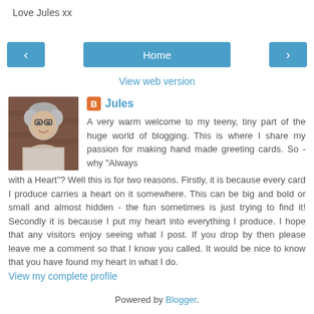Love Jules xx
[Figure (screenshot): Navigation bar with left arrow button, Home button, and right arrow button in blue]
View web version
[Figure (photo): Profile photo of Jules - a woman with short grey hair and glasses, smiling]
Jules
A very warm welcome to my teeny, tiny part of the huge world of blogging. This is where I share my passion for making hand made greeting cards. So - why "Always with a Heart"? Well this is for two reasons. Firstly, it is because every card I produce carries a heart on it somewhere. This can be big and bold or small and almost hidden - the fun sometimes is just trying to find it! Secondly it is because I put my heart into everything I produce. I hope that any visitors enjoy seeing what I post. If you drop by then please leave me a comment so that I know you called. It would be nice to know that you have found my heart in what I do.
View my complete profile
Powered by Blogger.